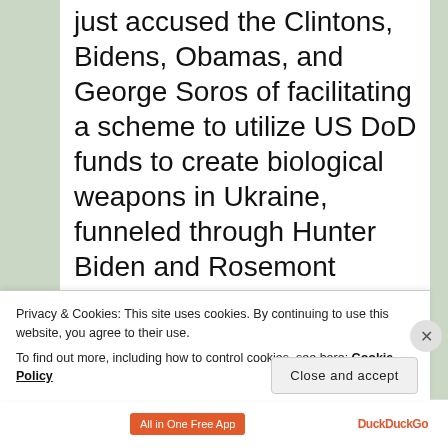just accused the Clintons, Bidens, Obamas, and George Soros of facilitating a scheme to utilize US DoD funds to create biological weapons in Ukraine, funneled through Hunter Biden and Rosemont Seneca through Metabiota, to create the pathogens, and then reap the money from vaccines to fund their political campaigns via Pfizer and Moderna, to further their
Privacy & Cookies: This site uses cookies. By continuing to use this website, you agree to their use. To find out more, including how to control cookies, see here: Cookie Policy
Close and accept